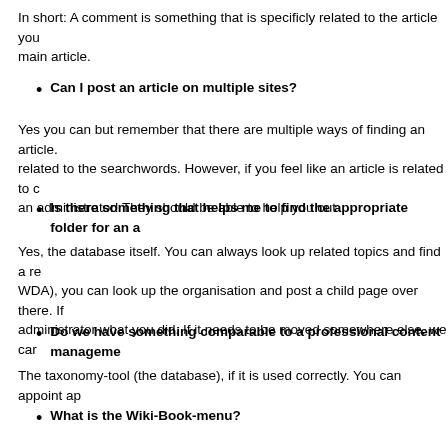In short: A comment is something that is specificly related to the article you main article.
Can I post an article on multiple sites?
Yes you can but remember that there are multiple ways of finding an article. related to the searchwords. However, if you feel like an article is related to c an administrator! They should be able to help you out
Is there something that helps me to find the appropriate folder for an a
Yes, the database itself. You can always look up related topics and find a re WDA), you can look up the organisation and post a child page over there. If administrator what you did. If it needs to be moved somewhere else, we car
Do we have something comparable to a professional content manageme
The taxonomy-tool (the database), if it is used correctly. You can appoint ap
What is the Wiki-Book-menu?